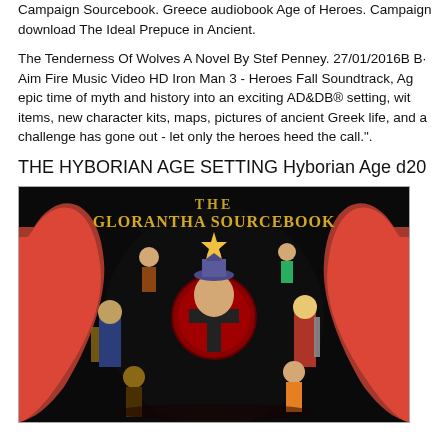Campaign Sourcebook. Greece audiobook Age of Heroes. Campaign download The Ideal Prepuce in Ancient.
The Tenderness Of Wolves A Novel By Stef Penney. 27/01/2016B B· Aim Fire Music Video HD Iron Man 3 - Heroes Fall Soundtrack, Age epic time of myth and history into an exciting AD&DB® setting, with items, new character kits, maps, pictures of ancient Greek life, and a challenge has gone out - let only the heroes heed the call.".
THE HYBORIAN AGE SETTING Hyborian Age d20
[Figure (illustration): Book cover of The Glorantha Sourcebook showing fantasy characters, a robed bishop-like figure in center, warriors and mythical creatures surrounding him, with red flame/wing shapes on a black background. Gold title text reads 'THE GLORANTHA SOURCEBOOK'.]